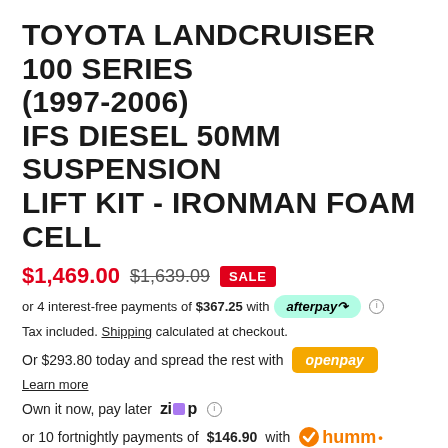TOYOTA LANDCRUISER 100 SERIES (1997-2006) IFS DIESEL 50MM SUSPENSION LIFT KIT - IRONMAN FOAM CELL
$1,469.00  $1,639.09  SALE
or 4 interest-free payments of $367.25 with afterpay
Tax included. Shipping calculated at checkout.
Or $293.80 today and spread the rest with openpay
Learn more
Own it now, pay later  ZIP
or 10 fortnightly payments of $146.90 with humm
more info
Front Torsion Bar